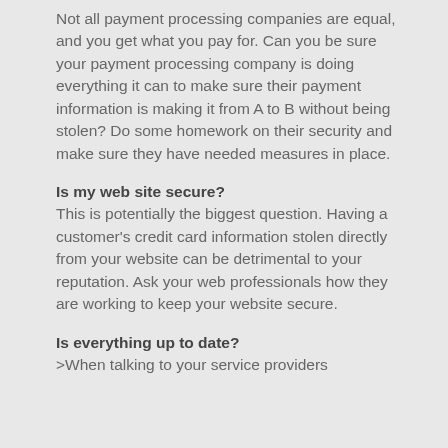Not all payment processing companies are equal, and you get what you pay for. Can you be sure your payment processing company is doing everything it can to make sure their payment information is making it from A to B without being stolen? Do some homework on their security and make sure they have needed measures in place.
Is my web site secure?
This is potentially the biggest question. Having a customer's credit card information stolen directly from your website can be detrimental to your reputation. Ask your web professionals how they are working to keep your website secure.
Is everything up to date?
>When talking to your service providers